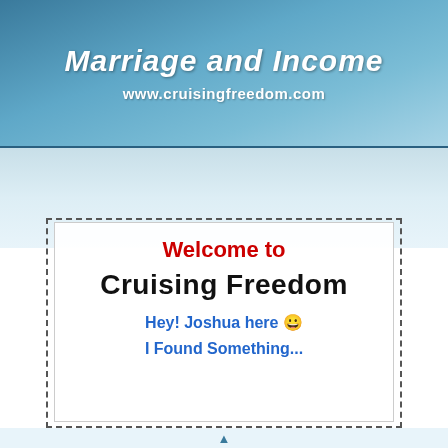[Figure (illustration): Banner with blue nautical/boat background showing text 'Marriage and Income' in bold italic white and 'www.cruisingfreedom.com' below it]
Welcome to
Cruising Freedom
Hey! Joshua here 😀
I Found Something...